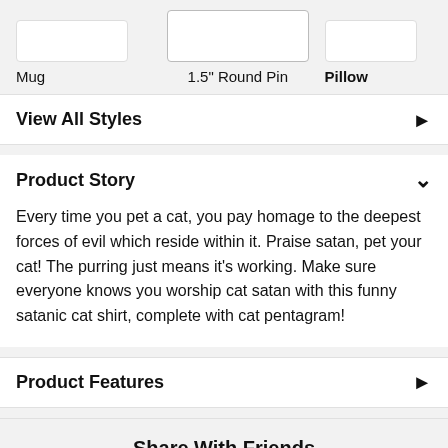Mug
1.5" Round Pin
Pillow
View All Styles
Product Story
Every time you pet a cat, you pay homage to the deepest forces of evil which reside within it. Praise satan, pet your cat! The purring just means it's working. Make sure everyone knows you worship cat satan with this funny satanic cat shirt, complete with cat pentagram!
Product Features
Share With Friends